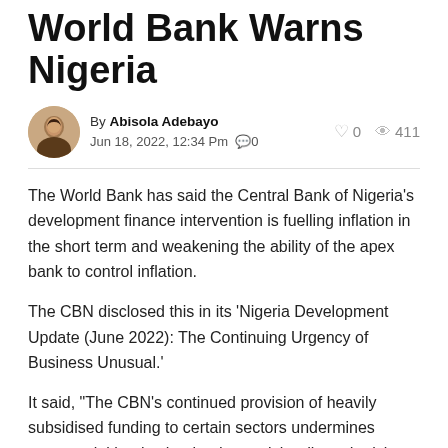World Bank Warns Nigeria
By Abisola Adebayo
Jun 18, 2022, 12:34 Pm  0   411
The World Bank has said the Central Bank of Nigeria’s development finance intervention is fuelling inflation in the short term and weakening the ability of the apex bank to control inflation.
The CBN disclosed this in its ‘Nigeria Development Update (June 2022): The Continuing Urgency of Business Unusual.’
It said, “The CBN’s continued provision of heavily subsidised funding to certain sectors undermines commercial banks that lend on a risk-adjusted pricing basis and needs to be dialled down”.
According to the global bank, the CBN’s continued